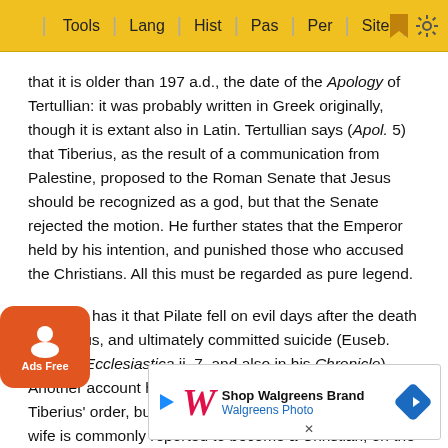Tools | Lang | Hist | Pas | Per | Site
that it is older than 197 a.d., the date of the Apology of Tertullian: it was probably written in Greek originally, though it is extant also in Latin. Tertullian says (Apol. 5) that Tiberius, as the result of a communication from Palestine, proposed to the Roman Senate that Jesus should be recognized as a god, but that the Senate rejected the motion. He further states that the Emperor held by his intention, and punished those who accused the Christians. All this must be regarded as pure legend.
Tradition has it that Pilate fell on evil days after the death of Tiberius, and ultimately committed suicide (Euseb. Historia Ecclesiastica ii. 7, and also in his Chronicle). Another account has it that he was beheaded by Tiberius' order, but that he [repented] before his death. His wife is commonly reported to [have] become a Christian, on the strength, no doubt, of the warni[ng] [she gave her] r husba[nd...] [emp]eror to sta[y...]  is